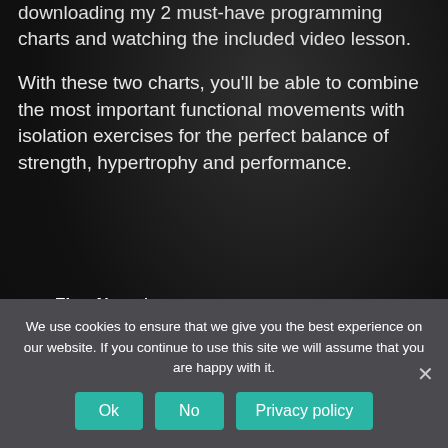downloading my 2 must-have programming charts and watching the included video lesson.
With these two charts, you'll be able to combine the most important functional movements with isolation exercises for the perfect balance of strength, hypertrophy and performance.
First Name*
Type your first na…
We use cookies to ensure that we give you the best experience on our website. If you continue to use this site we will assume that you are happy with it.
Ok
No
Privacy policy